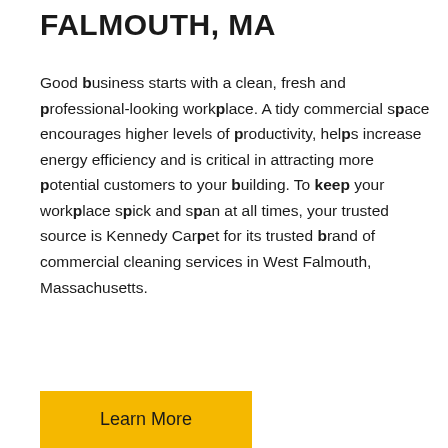FALMOUTH, MA
Good business starts with a clean, fresh and professional-looking workplace. A tidy commercial space encourages higher levels of productivity, helps increase energy efficiency and is critical in attracting more potential customers to your building. To keep your workplace spick and span at all times, your trusted source is Kennedy Carpet for its trusted brand of commercial cleaning services in West Falmouth, Massachusetts.
Learn More